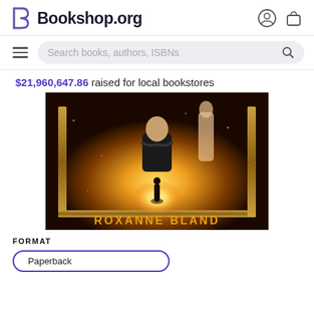Bookshop.org
Search books, authors, ISBNs
$21,960,647.86 raised for local bookstores
[Figure (photo): Book cover showing a dramatic scene with a man standing arms crossed before a glowing cosmic portal, a woman and another figure behind him, with the author name ROXANNE BLAND at the bottom in gold letters.]
FORMAT
Paperback